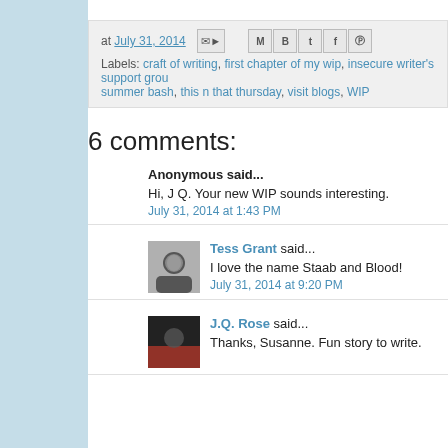at July 31, 2014 [share icons] Labels: craft of writing, first chapter of my wip, insecure writer's support group, summer bash, this n that thursday, visit blogs, WIP
6 comments:
Anonymous said... Hi, J Q. Your new WIP sounds interesting. July 31, 2014 at 1:43 PM
Tess Grant said... I love the name Staab and Blood! July 31, 2014 at 9:20 PM
J.Q. Rose said... Thanks, Susanne. Fun story to write.